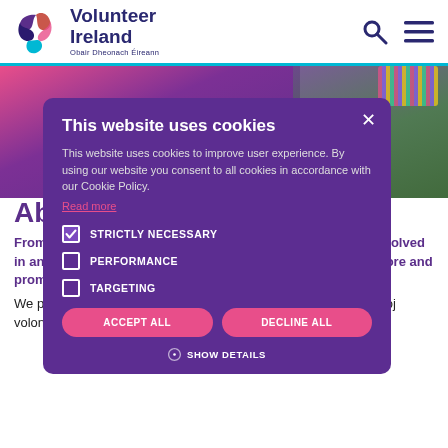Volunteer Ireland | Obair Dheonach Éireann
[Figure (screenshot): Cookie consent overlay on Volunteer Ireland website showing cookie categories (Strictly Necessary, Performance, Targeting) with Accept All and Decline All buttons]
About the project
From December 2019 to May 2022, Volunteer Ireland were involved in an Erasmus+ project, the aim of which was to further explore and promote the idea of Family Volunteering.
We partnered with: Pro Vobis (Romania), Hrvatski centar za razvoj volonterstva (Croatia), Freiwilligen-Zentrum